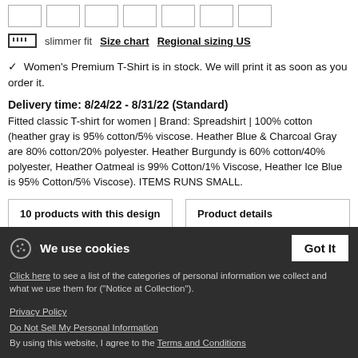[Figure (other): Row of size selector swatch boxes (empty rectangles)]
slimmer fit   Size chart   Regional sizing US
✓ Women's Premium T-Shirt is in stock. We will print it as soon as you order it.
Delivery time: 8/24/22 - 8/31/22 (Standard)
Fitted classic T-shirt for women | Brand: Spreadshirt | 100% cotton (heather gray is 95% cotton/5% viscose. Heather Blue & Charcoal Gray are 80% cotton/20% polyester. Heather Burgundy is 60% cotton/40% polyester, Heather Oatmeal is 99% Cotton/1% Viscose, Heather Ice Blue is 95% Cotton/5% Viscose). ITEMS RUNS SMALL.
10 products with this design   Product details
We use cookies
Click here to see a list of the categories of personal information we collect and what we use them for ("Notice at Collection").
Privacy Policy
Do Not Sell My Personal Information
By using this website, I agree to the Terms and Conditions